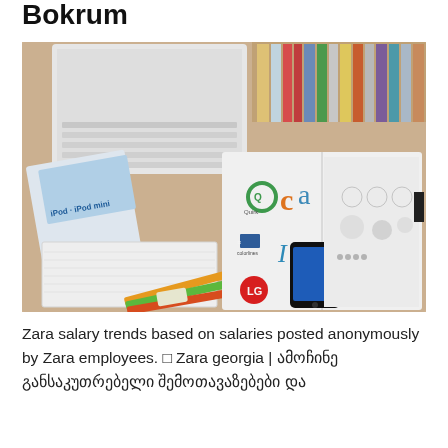Bokrum
[Figure (photo): Overhead flat-lay photo of a desk showing a laptop, an open book/magazine with logos (Quirk, LG, etc.) and a smartphone, pencils, a notebook, and stacked books in the background.]
Zara salary trends based on salaries posted anonymously by Zara employees. ◻ Zara georgia | ამოჩინე განსაკუთრებელი შემოთავაზებები და